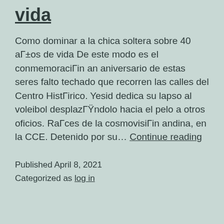vida
Como dominar a la chica soltera sobre 40 aГ±os de vida De este modo es el conmemoraciГin an aniversario de estas seres falto techado que recorren las calles del Centro HistГirico. Yesid dedica su lapso al voleibol desplazГŸndolo hacia el pelo a otros oficios. RaГces de la cosmovisiГin andina, en la CCE. Detenido por su… Continue reading
Published April 8, 2021
Categorized as log in